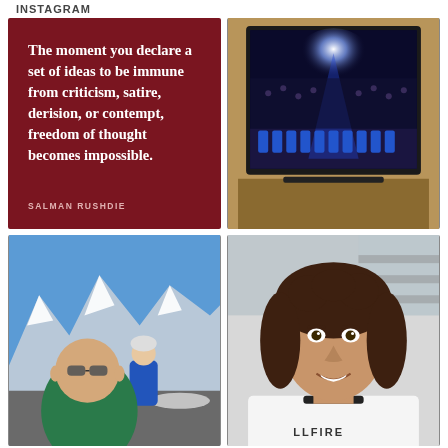INSTAGRAM
[Figure (illustration): Dark red/maroon background with white bold text quote: 'The moment you declare a set of ideas to be immune from criticism, satire, derision, or contempt, freedom of thought becomes impossible.' Attribution: SALMAN RUSHDIE]
[Figure (photo): Photo of a large TV screen showing an Olympic or sporting ceremony with athletes in blue uniforms marching, bright stage lights, large stadium crowd visible]
[Figure (photo): Selfie photo of a bald man with sunglasses on a snowy mountain summit, another person in blue jacket behind him, snow-capped mountain range in background, clear blue sky]
[Figure (photo): Portrait photo of a young man with long curly brown hair, smiling, wearing a white graphic t-shirt reading 'LLFIRE', indoor setting with shelving in background]